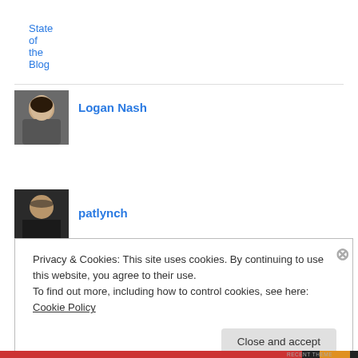State of the Blog
[Figure (photo): Avatar photo of Logan Nash - person with dark hair]
Logan Nash
[Figure (photo): Avatar photo of patlynch - older bald person]
patlynch
Recent Posts
A Better Way To Travel: Why Isn't the U.S. Investing In High-Speed Trains? – Harvard Political Review
5 Reasons California's High Speed Rail Is The Best Public Works
Privacy & Cookies: This site uses cookies. By continuing to use this website, you agree to their use.
To find out more, including how to control cookies, see here: Cookie Policy
Close and accept